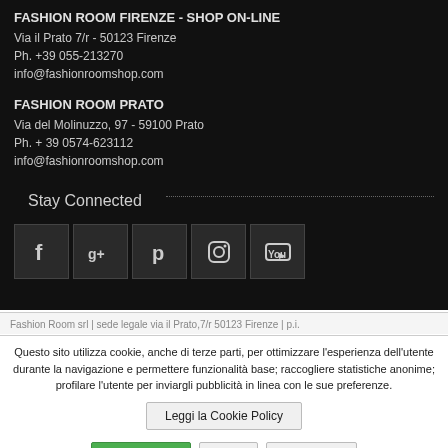FASHION ROOM FIRENZE - SHOP ON-LINE
Via il Prato 7/r - 50123 Firenze
Ph. +39 055-213270
info@fashionroomshop.com
FASHION ROOM PRATO
Via del Molinuzzo, 97 - 59100 Prato
Ph. + 39 0574-623112
info@fashionroomshop.com
Stay Connected
[Figure (other): Social media icons: Facebook, Google+, Pinterest, Instagram, YouTube]
Fashion Room srl | sede legale via il Prato,7/r 50123 Firenze | p.i.
Questo sito utilizza cookie, anche di terze parti, per ottimizzare l'esperienza dell'utente durante la navigazione e permettere funzionalità base; raccogliere statistiche anonime; profilare l'utente per inviargli pubblicità in linea con le sue preferenze.
Leggi la Cookie Policy
Accetta Tutti
Nega
Personalizza